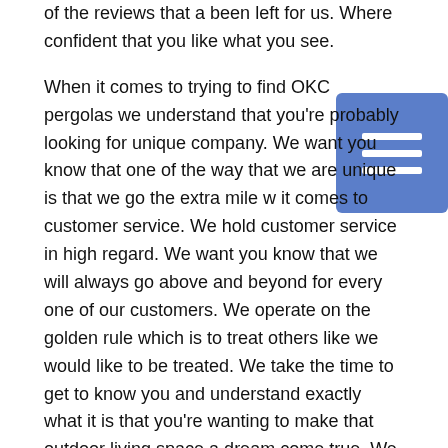of the reviews that a been left for us. Where confident that you like what you see.
When it comes to trying to find OKC pergolas we understand that you're probably looking for unique company. We want you know that one of the ways that we are unique is that we go the extra mile when it comes to customer service. We hold customer service in high regard. We want you know that we will always go above and beyond for every one of our customers. We operate on the golden rule which is to treat others like we would like to be treated. We take the time to get to know you and understand exactly what it is that you're wanting to make that outdoor living space a dream come true. We will give every aspect of the project 100% effort and really focus on the small details. We believe that this respect your time and your money and we try to overdeliver on the customer service. Go ahead and put us to the test today to see what we are talking